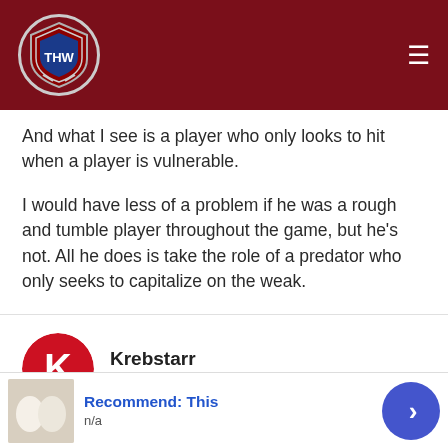[Figure (logo): THW (The Hockey Writers) shield logo in white and blue on dark red header bar with hamburger menu icon]
And what I see is a player who only looks to hit when a player is vulnerable.
I would have less of a problem if he was a rough and tumble player throughout the game, but he's not. All he does is take the role of a predator who only seeks to capitalize on the weak.
Krebstarr
March 9, 2012 at 10:08 am
[Figure (other): Recommend: This advertisement with n/a label, thumbnail image, and blue arrow button]